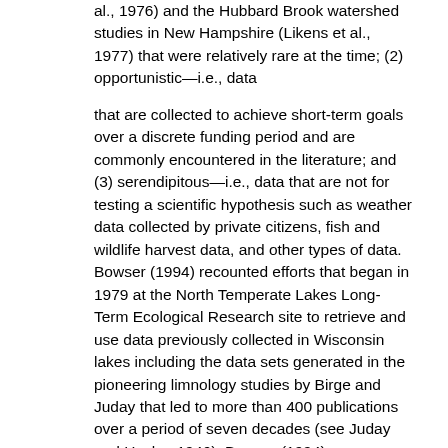al., 1976) and the Hubbard Brook watershed studies in New Hampshire (Likens et al., 1977) that were relatively rare at the time; (2) opportunistic—i.e., data
that are collected to achieve short-term goals over a discrete funding period and are commonly encountered in the literature; and (3) serendipitous—i.e., data that are not for testing a scientific hypothesis such as weather data collected by private citizens, fish and wildlife harvest data, and other types of data. Bowser (1994) recounted efforts that began in 1979 at the North Temperate Lakes Long-Term Ecological Research site to retrieve and use data previously collected in Wisconsin lakes including the data sets generated in the pioneering limnology studies by Birge and Juday that led to more than 400 publications over a period of seven decades (see Juday and Hasler, 1946). Bowser (1994) summarized the state of the historic data as:
"The scope, degree of documentation, quality, and availability of different data sets varies widely. Both published and unpublished data sets have strengths and weaknesses. Data discontinuity, whether from